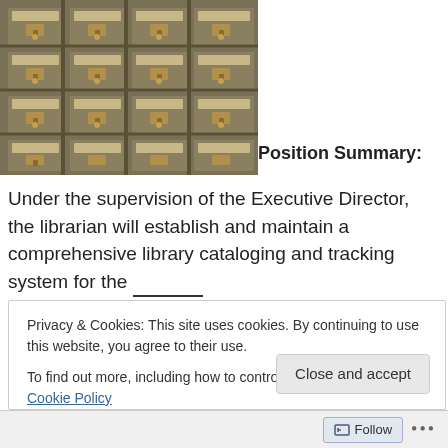[Figure (photo): Card catalog drawers with brass handles and label holders, viewed from the front — a library filing cabinet system]
Position Summary:
Under the supervision of the Executive Director, the librarian will establish and maintain a comprehensive library cataloging and tracking system for the ________ School. (Six Month Assignment with the possibility of
Privacy & Cookies: This site uses cookies. By continuing to use this website, you agree to their use.
To find out more, including how to control cookies, see here: Cookie Policy
Close and accept
Follow ...